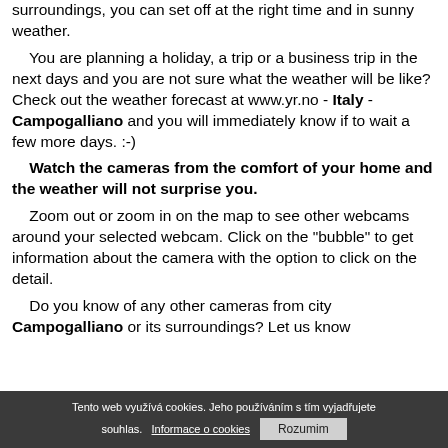surroundings, you can set off at the right time and in sunny weather.
    You are planning a holiday, a trip or a business trip in the next days and you are not sure what the weather will be like? Check out the weather forecast at www.yr.no - Italy - Campogalliano and you will immediately know if to wait a few more days. :-)
    Watch the cameras from the comfort of your home and the weather will not surprise you.
    Zoom out or zoom in on the map to see other webcams around your selected webcam. Click on the "bubble" to get information about the camera with the option to click on the detail.
    Do you know of any other cameras from city Campogalliano or its surroundings? Let us know
Tento web využívá cookies. Jeho používáním s tím vyjadřujete souhlas. Informace o cookies  Rozumim